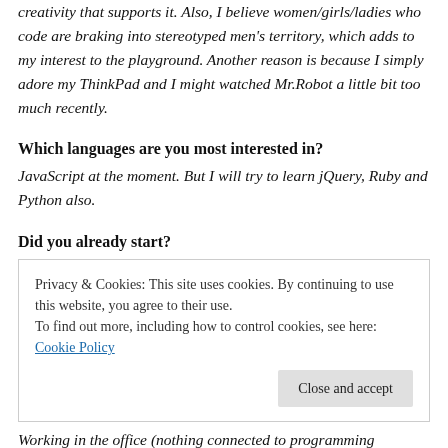creativity that supports it. Also, I believe women/girls/ladies who code are braking into stereotyped men's territory, which adds to my interest to the playground. Another reason is because I simply adore my ThinkPad and I might watched Mr.Robot a little bit too much recently.
Which languages are you most interested in?
JavaScript at the moment. But I will try to learn jQuery, Ruby and Python also.
Did you already start?
Privacy & Cookies: This site uses cookies. By continuing to use this website, you agree to their use.
To find out more, including how to control cookies, see here: Cookie Policy
Close and accept
Working in the office (nothing connected to programming